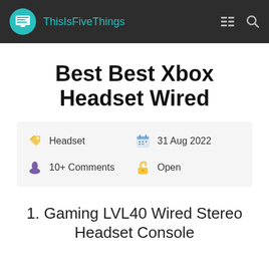ThisIsFiveThings
Best Best Xbox Headset Wired
Headset  31 Aug 2022  10+ Comments  Open
1. Gaming LVL40 Wired Stereo Headset Console